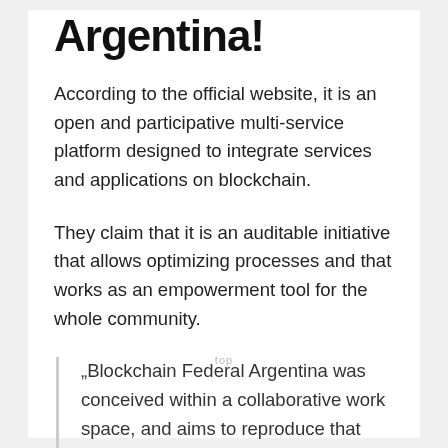Argentina!
According to the official website, it is an open and participative multi-service platform designed to integrate services and applications on blockchain.
They claim that it is an auditable initiative that allows optimizing processes and that works as an empowerment tool for the whole community.
„Blockchain Federal Argentina was conceived within a collaborative work space, and aims to reproduce that pattern as the backbone of the platform. Designed to empower itself through the contributions of the public, private, academic and